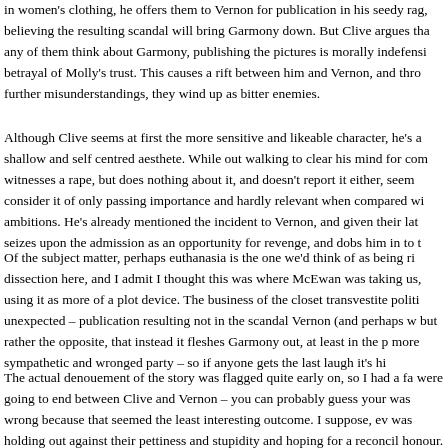in women's clothing, he offers them to Vernon for publication in his seedy rag, believing the resulting scandal will bring Garmony down. But Clive argues that any of them think about Garmony, publishing the pictures is morally indefensible betrayal of Molly's trust. This causes a rift between him and Vernon, and through further misunderstandings, they wind up as bitter enemies.
Although Clive seems at first the more sensitive and likeable character, he's a shallow and self centred aesthete. While out walking to clear his mind for com witnesses a rape, but does nothing about it, and doesn't report it either, seems consider it of only passing importance and hardly relevant when compared with ambitions. He's already mentioned the incident to Vernon, and given their late seizes upon the admission as an opportunity for revenge, and dobs him in to t
Of the subject matter, perhaps euthanasia is the one we'd think of as being rip dissection here, and I admit I thought this was where McEwan was taking us, using it as more of a plot device. The business of the closet transvestite politic unexpected – publication resulting not in the scandal Vernon (and perhaps we but rather the opposite, that instead it fleshes Garmony out, at least in the pub more sympathetic and wronged party – so if anyone gets the last laugh it's him
The actual denouement of the story was flagged quite early on, so I had a fair were going to end between Clive and Vernon – you can probably guess yours was wrong because that seemed the least interesting outcome. I suppose, eve was holding out against their pettiness and stupidity and hoping for a reconcili honour. There's an element of farce too in the twists and turns, which many c